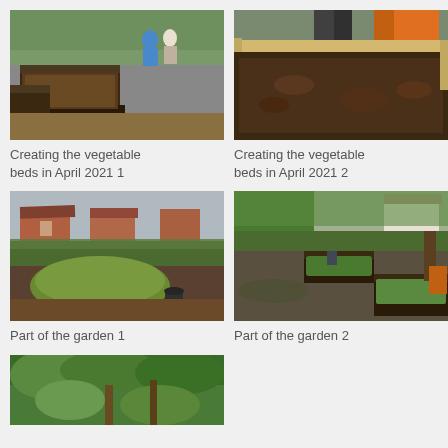[Figure (photo): Two people standing behind raised wooden vegetable beds filled with dark soil in a garden setting with trees in background]
Creating the vegetable beds in April 2021 1
[Figure (photo): Close-up of a raised bed being filled with dark soil, with orange bags and person visible in background]
Creating the vegetable beds in April 2021 2
[Figure (photo): Garden area with a green tarpaulin covering plants, hedges in background, houses visible beyond hedges]
Part of the garden 1
[Figure (photo): Garden view showing raised dark wooden vegetable beds with green plants, trees and hedge in background, brick houses visible]
Part of the garden 2
[Figure (photo): Dense green garden area with trees and shrubs, partially visible at bottom of page]